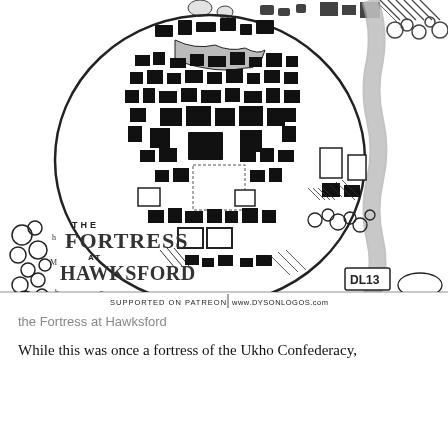[Figure (map): Black and white fantasy city/town map titled 'The Fortress at Hawksford' by Dyson Logos. Shows a walled fortress town with densely packed buildings, streets, towers, a river on the right side, surrounding wilderness and hills. Title text in decorative fantasy font reads 'THE FORTRESS AT HAWKSFORD'. Bottom text: 'SUPPORTED ON PATREON | www.DYSONLOGOS.com'. Artist mark 'DL13' in bottom right of map area.]
the Fortress at Hawksford
While this was once a fortress of the Ukho Confederacy,